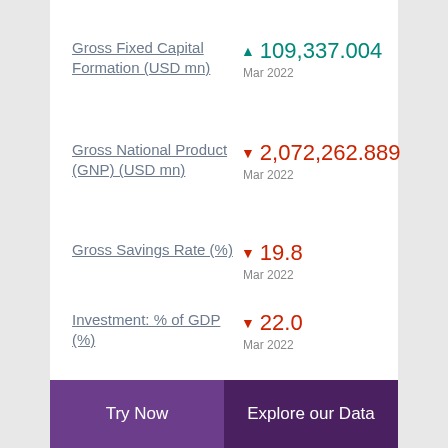Gross Fixed Capital Formation (USD mn) ▲ 109,337.004 Mar 2022
Gross National Product (GNP) (USD mn) ▼ 2,072,262.889 Mar 2022
Gross Savings Rate (%) ▼ 19.8 Mar 2022
Investment: % of GDP (%) ▼ 22.0 Mar 2022
Nominal GDP (USD mn) ▼ 516,458.7 Mar 2022
Try Now  Explore our Data